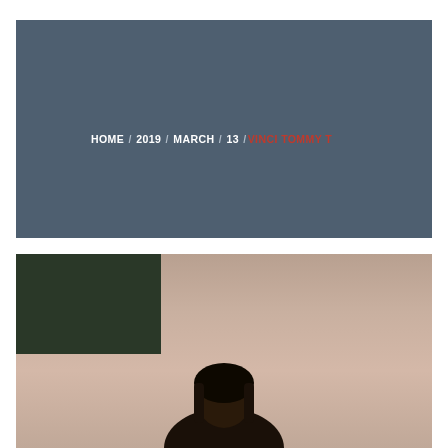HOME / 2019 / MARCH / 13 / VINCI TOMMY T
[Figure (photo): A photograph of a person with dark hair in a room with a pinkish-beige wall; a dark framed artwork or window is visible in the upper left. A scroll-to-top button overlay is visible in the lower right.]